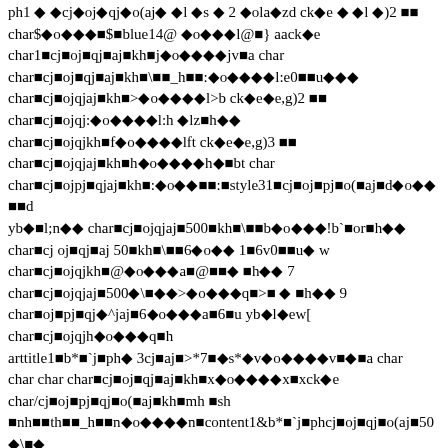ph1 ◆ ◆cj◆oj◆qj◆o(aj◆ ◆l ◆s ◆ 2 ◆ola◆zd ck◆e ◆ ◆l ◆)2 ■■ char$◆o◆◆◆■$■blue14@ ◆o◆◆◆l@■} aack◆e char1■cj■oj■qj■aj■kh■j◆o◆◆◆◆jv■a char char■cj■oj■qj■aj■kh■\■■_h■■:◆o◆◆◆◆l:e0■■u◆◆◆ char■cj■ojqjaj■kh■>◆o◆◆◆◆l>b ck◆e◆e,g)2 ■■ char■cj■ojqj:◆o◆◆◆◆l:h ◆lz■h◆◆ char■cj■ojqjkh■f◆o◆◆◆◆lft ck◆e◆e,g)3 ■■ char■cj■ojqjaj■kh■h◆o◆◆◆◆h◆■bt char char■cj■ojpj■qjaj■kh■:◆o◆◆■■:■style31■cj■oj■pj■o(■aj■d◆o◆◆■■d yb◆■l;n◆◆ char■cj■ojqjaj■500■kh■\■■b◆o◆◆◆!b`■or■h◆◆ char■cj oj■qj■aj 50■kh■\■■6◆o◆◆ 1■6v0■■u◆ w char■cj■ojqjkh■@◆o◆◆◆a■@■■◆ ■h◆◆ 7 char■cj■ojqjaj■500◆\■◆◆>◆o◆◆◆q■>■ ◆ ■h◆◆ 9 char■oj■pj■qj◆^jaj■6◆o◆◆◆a■6■u yb◆l◆ew[ char■cj■ojqjh◆o◆◆◆q■h arttitle1■b*■`j■ph◆ 3cj■aj■>*7■◆s*◆v◆o◆◆◆◆v■◆■a char char char char■cj■oj■qj■aj■kh■x◆o◆◆◆◆x■xck◆e char/cj■oj■pj■qj■o(■aj■kh■mh ■sh ■nh■■th■■_h■■n◆o◆◆◆◆n■content1&b*■`j■phcj■oj■qj■o(aj■50◆\■◆ charb◆o◆◆◆◆b■◆ ■h◆◆ 3 char■cj■ojpj■qjaj \◆ 8y@■◆■8■■◆ech◆~◆g◆v■=-d ■m◆ ◆◆ 4"@■■4■■◆◆◆◆l>■cj■oj■pj■qj■aj■vm@◆■◆■v;■ck◆e◆◆l◆ 25@■■dh■a$■$9d■h$■◆x■◆◆◆^◆◆ wd■◆`◆ ◆■■x ■khaj■8n@a■■■8'■ck◆e◆◆l◆)■■